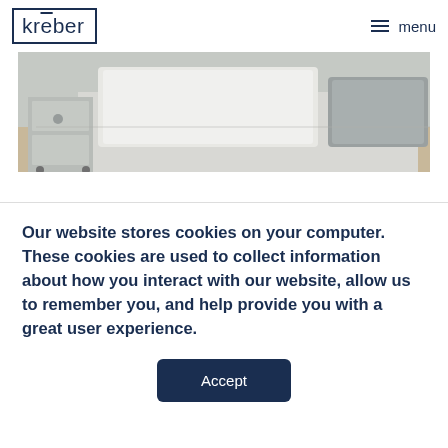kreber  menu
[Figure (photo): Bedroom scene showing bed with white/grey pillows and a storage unit with fabric bins on wheels, partially visible]
Our website stores cookies on your computer. These cookies are used to collect information about how you interact with our website, allow us to remember you, and help provide you with a great user experience.
Accept